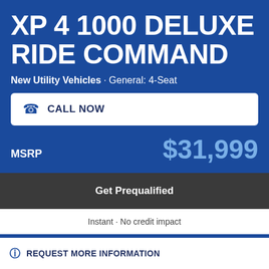XP 4 1000 DELUXE RIDE COMMAND
New Utility Vehicles · General: 4-Seat
CALL NOW
MSRP $31,999
Get Prequalified
Instant · No credit impact
REQUEST MORE INFORMATION